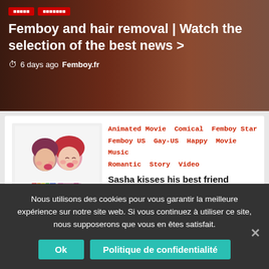Femboy and hair removal | Watch the selection of the best news >
6 days ago  Femboy.fr
Animated Movie  Comical  Femboy Star  Femboy US  Gay-US  Happy  Movie  Music  Romantic  Story  Video
Sasha kisses his best friend Gabriel in the animated short film directed by Yoann Roussin and Ylang Lebot at BOBBYPILLS studio
7 days ago  Femboy.fr
[Figure (illustration): Animated characters kissing illustration for BOBBYPILLS studio short film]
Nous utilisons des cookies pour vous garantir la meilleure expérience sur notre site web. Si vous continuez à utiliser ce site, nous supposerons que vous en êtes satisfait.
Ok   Politique de confidentialité